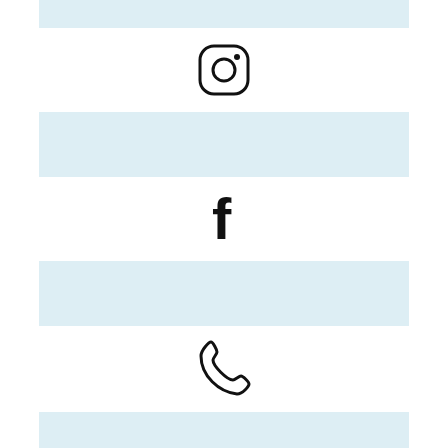[Figure (illustration): Light blue horizontal bar (top, partially visible)]
[Figure (illustration): Instagram icon (camera outline with circle and dot)]
[Figure (illustration): Light blue horizontal bar]
[Figure (illustration): Facebook 'f' icon]
[Figure (illustration): Light blue horizontal bar]
[Figure (illustration): Phone handset icon (outline)]
[Figure (illustration): Light blue horizontal bar]
[Figure (illustration): Email envelope icon with @ symbol]
OUR OCEANS NEED YOUR HELP